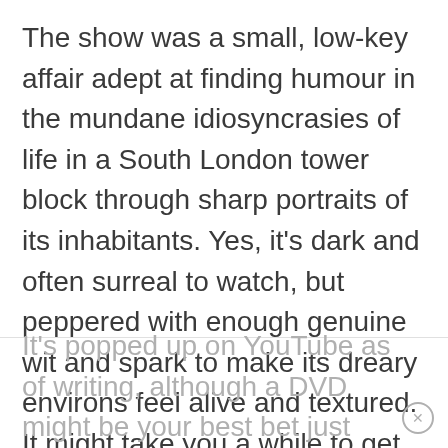The show was a small, low-key affair adept at finding humour in the mundane idiosyncrasies of life in a South London tower block through sharp portraits of its inhabitants. Yes, it’s dark and often surreal to watch, but peppered with enough genuine wit and spark to make its dreary environs feel alive and textured. It might take you a while to get into it, especially if you’re used to broader, zippier American shows, but give it enough time and 15 Storeys High will reward you richly.
It’s popped up on YouTube as of writing, although a DVD might be your best bet just